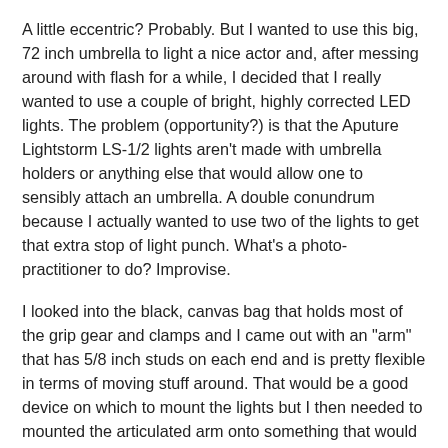A little eccentric? Probably. But I wanted to use this big, 72 inch umbrella to light a nice actor and, after messing around with flash for a while, I decided that I really wanted to use a couple of bright, highly corrected LED lights. The problem (opportunity?) is that the Aputure Lightstorm LS-1/2 lights aren't made with umbrella holders or anything else that would allow one to sensibly attach an umbrella. A double conundrum because I actually wanted to use two of the lights to get that extra stop of light punch. What's a photo-practitioner to do? Improvise.
I looked into the black, canvas bag that holds most of the grip gear and clamps and I came out with an "arm" that has 5/8 inch studs on each end and is pretty flexible in terms of moving stuff around. That would be a good device on which to mount the lights but I then needed to mounted the articulated arm onto something that would fit on the top of a light stand. An all-purpose grip head was just what the Light Doctor ordered. I was able to mount the two lights on a positionable articulated arm and then put the arm on top of a C-Stand. The lights could be positioned in any number of